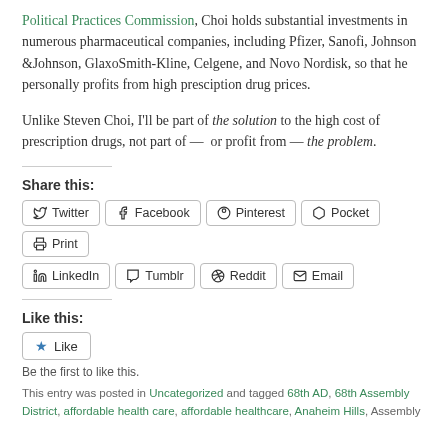Political Practices Commission, Choi holds substantial investments in numerous pharmaceutical companies, including Pfizer, Sanofi, Johnson &Johnson, GlaxoSmith-Kline, Celgene, and Novo Nordisk, so that he personally profits from high presciption drug prices.
Unlike Steven Choi, I'll be part of the solution to the high cost of prescription drugs, not part of — or profit from — the problem.
Share this:
Twitter Facebook Pinterest Pocket Print LinkedIn Tumblr Reddit Email
Like this:
Like
Be the first to like this.
This entry was posted in Uncategorized and tagged 68th AD, 68th Assembly District, affordable health care, affordable healthcare, Anaheim Hills, Assembly